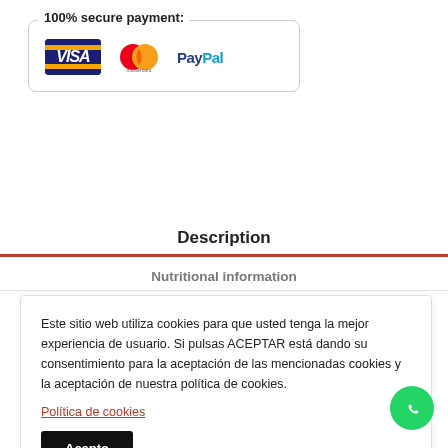100% secure payment:
[Figure (logo): Payment logos: Visa, Mastercard, PayPal inside a rounded border box]
Description
Nutritional information
Este sitio web utiliza cookies para que usted tenga la mejor experiencia de usuario. Si pulsas ACEPTAR está dando su consentimiento para la aceptación de las mencionadas cookies y la aceptación de nuestra política de cookies.
Política de cookies
Acepto
TION?